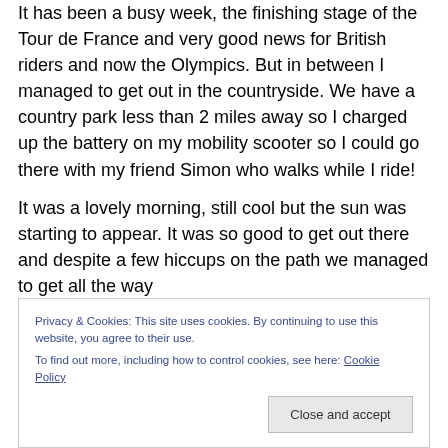It has been a busy week, the finishing stage of the Tour de France and very good news for British riders and now the Olympics. But in between I managed to get out in the countryside. We have a country park less than 2 miles away so I charged up the battery on my mobility scooter so I could go there with my friend Simon who walks while I ride!
It was a lovely morning, still cool but the sun was starting to appear. It was so good to get out there and despite a few hiccups on the path we managed to get all the way around the...
Privacy & Cookies: This site uses cookies. By continuing to use this website, you agree to their use. To find out more, including how to control cookies, see here: Cookie Policy